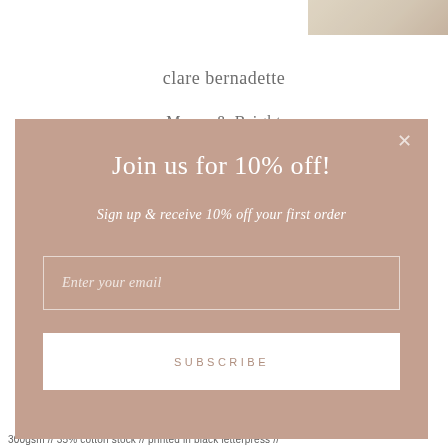[Figure (other): Partial product image (greeting card) visible in top right corner behind modal]
clare bernadette
Merry & Bright
[Figure (screenshot): Modal popup with mauve/dusty rose background. Contains: title 'Join us for 10% off!', subtitle 'Sign up & receive 10% off your first order', email input field with placeholder 'Enter your email', and a SUBSCRIBE button. Close X in top right corner.]
300gsm // 35% cotton stock // printed in black letterpress //